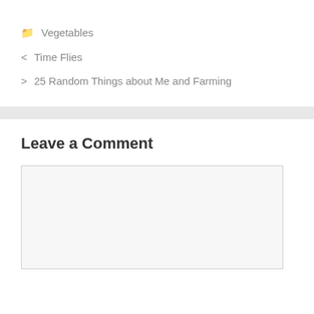🗀 Vegetables
< Time Flies
> 25 Random Things about Me and Farming
Leave a Comment
[Figure (other): Empty comment text area input box]